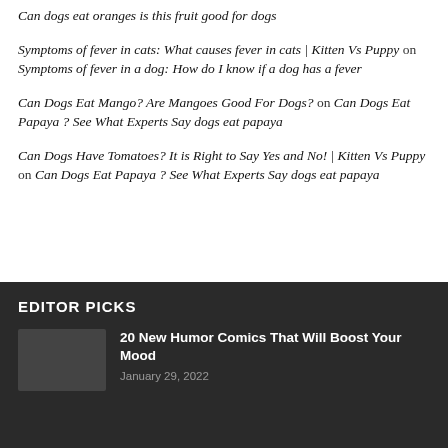Can dogs eat oranges is this fruit good for dogs
Symptoms of fever in cats: What causes fever in cats | Kitten Vs Puppy on Symptoms of fever in a dog: How do I know if a dog has a fever
Can Dogs Eat Mango? Are Mangoes Good For Dogs? on Can Dogs Eat Papaya ? See What Experts Say dogs eat papaya
Can Dogs Have Tomatoes? It is Right to Say Yes and No! | Kitten Vs Puppy on Can Dogs Eat Papaya ? See What Experts Say dogs eat papaya
EDITOR PICKS
20 New Humor Comics That Will Boost Your Mood
January 29, 2022